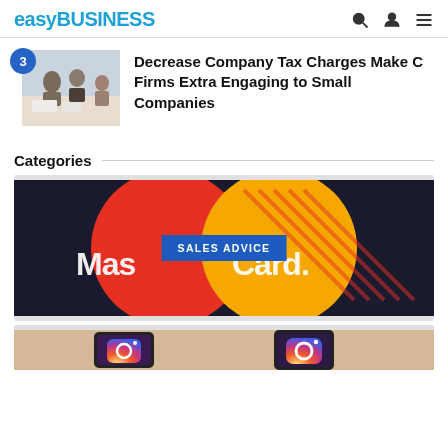easyBUSINESS
3 — Decrease Company Tax Charges Make C Firms Extra Engaging to Small Companies
Categories
[Figure (photo): MasterCard logo close-up with red and yellow circles on dark background, with SALES ADVICE label overlay]
[Figure (photo): Hands holding phones showing Instagram logos (partial view)]